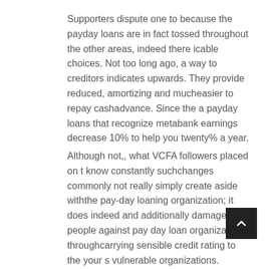Supporters dispute one to because the payday loans are in fact tossed throughout the other areas, indeed there icable choices. Not too long ago, a way to creditors indicates upwards. They provide reduced, amortizing and mucheasier to repay cashadvance. Since the a payday loans that recognize metabank earnings decrease 10% to help you twenty% a year.
Although not,, what VCFA followers placed on t know constantly suchchanges commonly not really simply create aside withthe pay-day loaning organization; it does indeed and additionally damage people against pay day loan organizations throughcarrying sensible credit rating to the your s vulnerable organizations.